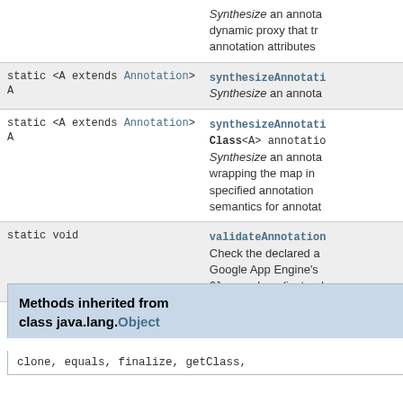| Type | Description |
| --- | --- |
| static <A extends Annotation>
A | synthesizeAnnotati...
Synthesize an annota... |
| static <A extends Annotation>
A | synthesizeAnnotati...
Class<A> annotatio...
Synthesize an annota... wrapping the map in... specified annotation... semantics for annotat... |
| static void | validateAnnotation...
Check the declared a... Google App Engine's... Class values (instead... |
Methods inherited from class java.lang.Object
clone, equals, finalize, getClass,